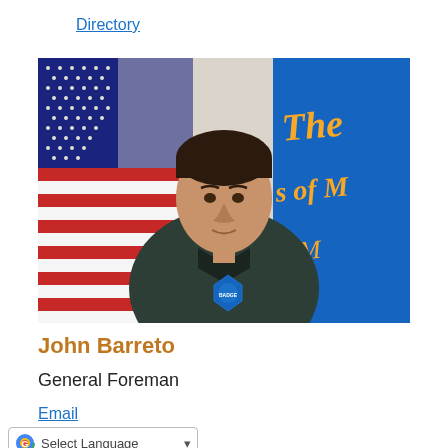Directory
[Figure (photo): Professional headshot of John Barreto, a man in a dark polo shirt with an agency badge patch, standing in front of an American flag on the left and a blue state flag with gold text on the right.]
John Barreto
General Foreman
Email
Select Language